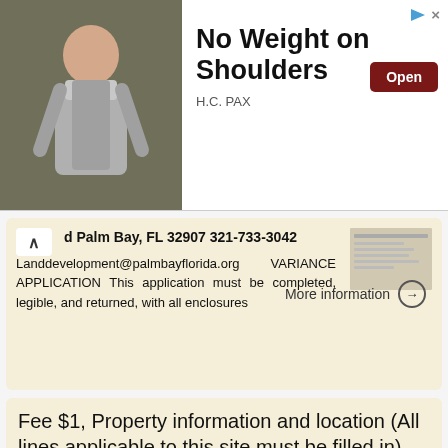[Figure (screenshot): Advertisement banner: photo of a person with a backpack on the left, bold headline 'No Weight on Shoulders' and 'H.C. PAX' subtitle with an 'Open' button on the right.]
d Palm Bay, FL 32907 321-733-3042 Landdevelopment@palmbayﬂorida.org VARIANCE APPLICATION This application must be completed, legible, and returned, with all enclosures
More information →
Fee $1, Property information and location (All lines applicable to this site must be filled in)
Gravel Operations Conditional use permit Application Fee $1,000.00 Property information and location (All lines applicable to this site must be filled in) Section Township Range Range (All lines MUST